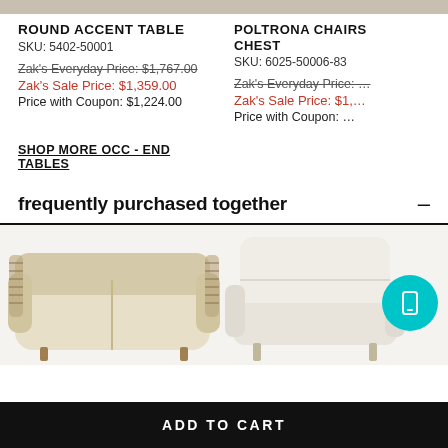ROUND ACCENT TABLE
SKU: 5402-50001
Zak's Everyday Price: $1,767.00
Zak's Sale Price: $1,359.00
Price with Coupon: $1,224.00
POLTRONA CHAIRS CHEST
SKU: 6025-50006-83
Zak's Everyday Price: (cut off)
Zak's Sale Price: $1,...
Price with Coupon: (cut off)
SHOP MORE OCC - END TABLES
frequently purchased together
[Figure (photo): A woven cane loveseat/sofa with light wood frame and cream upholstery]
[Figure (photo): A white upholstered accent chair]
ADD TO CART